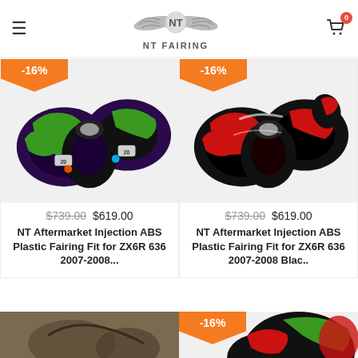NT FAIRING - Navigation header with logo, hamburger menu, and cart (0 items)
[Figure (photo): Motorcycle fairing kit in black, purple and green colorway for ZX6R 636 2007-2008 with -16% discount badge]
[Figure (photo): Motorcycle fairing kit in black and red colorway for ZX6R 636 2007-2008 with -16% discount badge]
$739.00 $619.00
$739.00 $619.00
NT Aftermarket Injection ABS Plastic Fairing Fit for ZX6R 636 2007-2008...
NT Aftermarket Injection ABS Plastic Fairing Fit for ZX6R 636 2007-2008 Blac..
[Figure (photo): Partial view of motorcycle fairing kit (bottom of page)]
[Figure (photo): Partial view of motorcycle fairing kit in green/red colorway with -16% discount badge (bottom of page)]